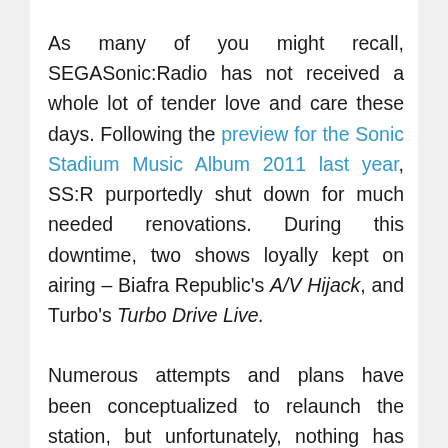As many of you might recall, SEGASonic:Radio has not received a whole lot of tender love and care these days. Following the preview for the Sonic Stadium Music Album 2011 last year, SS:R purportedly shut down for much needed renovations. During this downtime, two shows loyally kept on airing – Biafra Republic's A/V Hijack, and Turbo's Turbo Drive Live.

Numerous attempts and plans have been conceptualized to relaunch the station, but unfortunately, nothing has quite taken off at 100%. With the former Station Manager, BlitzChris, becoming more and more occupied with life offline (and make no mistake, this is ALWAYS a priority), SS:R had a difficult time